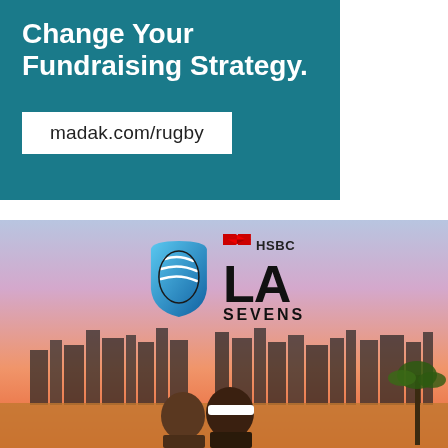[Figure (infographic): Teal/dark cyan advertisement banner reading 'Change Your Fundraising Strategy.' in bold white text, with a white box containing 'madak.com/rugby' in dark text below.]
[Figure (photo): HSBC LA Sevens rugby promotional image. Features the LA Sevens logo (blue rugby ball icon, HSBC red diamond logo, large 'LA SEVENS' text in black) against a colorful sunset sky with Los Angeles city skyline and two rugby players in the foreground.]